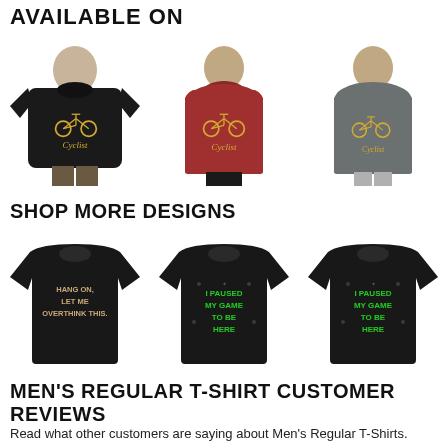AVAILABLE ON
[Figure (photo): Three men wearing cycling-themed shirts: black t-shirt, red tank top, and gray tank top, each with a bicycle graphic and 'Cyclist' text in gold]
SHOP MORE DESIGNS
[Figure (photo): Three black t-shirts with text graphics: 'HANG ON, LET ME OVERTHINK THIS.', 'I PAUSED MY GAME TO BE HERE' (green), 'I PAUSED MY GAME TO BE HERE' (green)]
MEN'S REGULAR T-SHIRT CUSTOMER REVIEWS
Read what other customers are saying about Men's Regular T-Shirts.